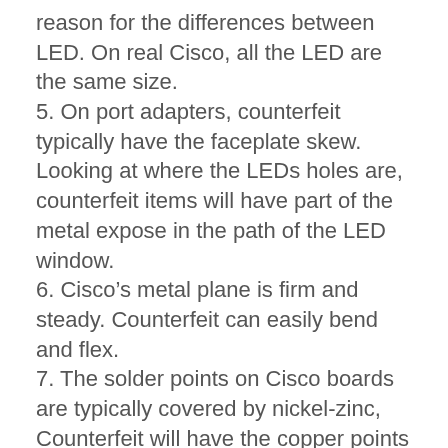reason for the differences between LED. On real Cisco, all the LED are the same size.
5. On port adapters, counterfeit typically have the faceplate skew. Looking at where the LEDs holes are, counterfeit items will have part of the metal expose in the path of the LED window.
6. Cisco’s metal plane is firm and steady. Counterfeit can easily bend and flex.
7. The solder points on Cisco boards are typically covered by nickel-zinc, Counterfeit will have the copper points still expose.
8. Cisco will have the word “Stewart” inside the RJ-45 connector. Counterfeit will have “GLG” inside the RJ-45. This is not 100% proof.
9. Cisco SFP modules come with three stickers. One of the stickers has the part number. On